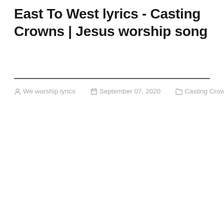East To West lyrics - Casting Crowns | Jesus worship song
We worship lyrics  September 07, 2020  Casting Crowns,